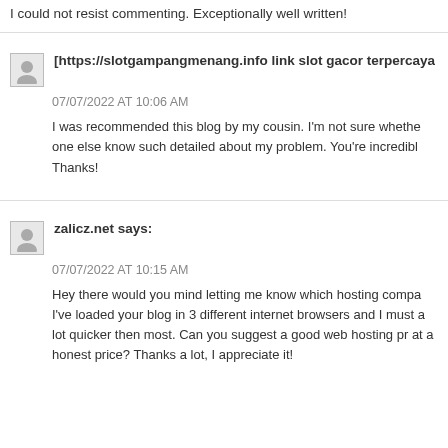I could not resist commenting. Exceptionally well written!
[https://slotgampangmenang.info link slot gacor terpercaya
07/07/2022 AT 10:06 AM
I was recommended this blog by my cousin. I'm not sure whether one else know such detailed about my problem. You're incredibl Thanks!
zalicz.net says:
07/07/2022 AT 10:15 AM
Hey there would you mind letting me know which hosting compa I've loaded your blog in 3 different internet browsers and I must a lot quicker then most. Can you suggest a good web hosting pr at a honest price? Thanks a lot, I appreciate it!